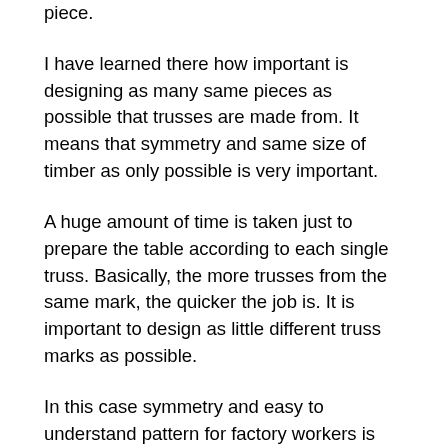piece.
I have learned there how important is designing as many same pieces as possible that trusses are made from. It means that symmetry and same size of timber as only possible is very important.
A huge amount of time is taken just to prepare the table according to each single truss. Basically, the more trusses from the same mark, the quicker the job is. It is important to design as little different truss marks as possible.
In this case symmetry and easy to understand pattern for factory workers is very important to make the preparation easier and quicker. It was worth to note how the press works. It is good when plates are aligned horizontally and